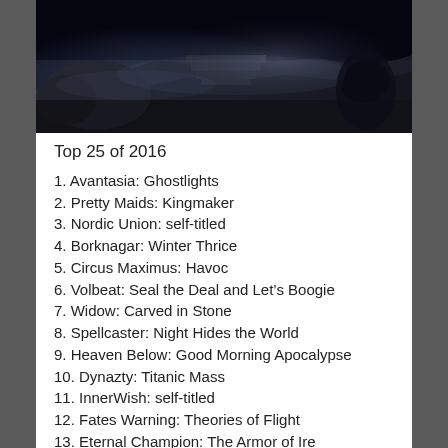[Figure (photo): Dark fantasy/gaming scene showing ruins with fog and atmospheric lighting, dark blue-grey tones]
Top 25 of 2016
1. Avantasia: Ghostlights
2. Pretty Maids: Kingmaker
3. Nordic Union: self-titled
4. Borknagar: Winter Thrice
5. Circus Maximus: Havoc
6. Volbeat: Seal the Deal and Let's Boogie
7. Widow: Carved in Stone
8. Spellcaster: Night Hides the World
9. Heaven Below: Good Morning Apocalypse
10. Dynazty: Titanic Mass
11. InnerWish: self-titled
12. Fates Warning: Theories of Flight
13. Eternal Champion: The Armor of Ire